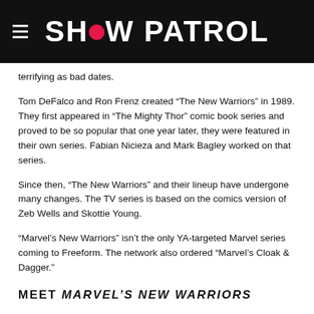SHOW PATROL
terrifying as bad dates.
Tom DeFalco and Ron Frenz created “The New Warriors” in 1989. They first appeared in “The Mighty Thor” comic book series and proved to be so popular that one year later, they were featured in their own series. Fabian Nicieza and Mark Bagley worked on that series.
Since then, “The New Warriors” and their lineup have undergone many changes. The TV series is based on the comics version of Zeb Wells and Skottie Young.
“Marvel’s New Warriors” isn’t the only YA-targeted Marvel series coming to Freeform. The network also ordered “Marvel’s Cloak & Dagger.”
MEET MARVEL’S NEW WARRIORS